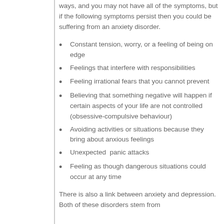ways, and you may not have all of the symptoms, but if the following symptoms persist then you could be suffering from an anxiety disorder.
Constant tension, worry, or a feeling of being on edge
Feelings that interfere with responsibilities
Feeling irrational fears that you cannot prevent
Believing that something negative will happen if certain aspects of your life are not controlled (obsessive-compulsive behaviour)
Avoiding activities or situations because they bring about anxious feelings
Unexpected  panic attacks
Feeling as though dangerous situations could occur at any time
There is also a link between anxiety and depression. Both of these disorders stem from